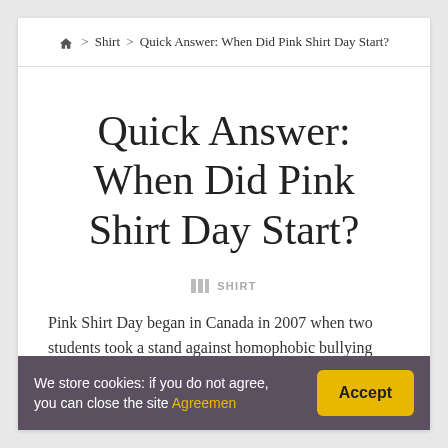🏠 > Shirt > Quick Answer: When Did Pink Shirt Day Start?
Quick Answer: When Did Pink Shirt Day Start?
SHIRT
Pink Shirt Day began in Canada in 2007 when two students took a stand against homophobic bullying after a new Year 10 student was harassed and threatened for wearing pink.
We store cookies: if you do not agree, you can close the site Agreemen